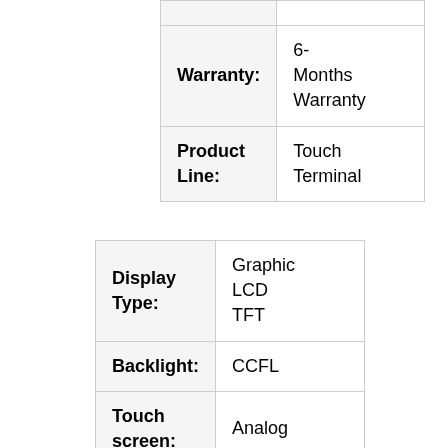| Warranty: | 6-Months Warranty |
| Product Line: | Touch Terminal |
| Display Type: | Graphic LCD TFT |
| Backlight: | CCFL |
| Touch screen: | Analog |
| Input | 18 - 32 |